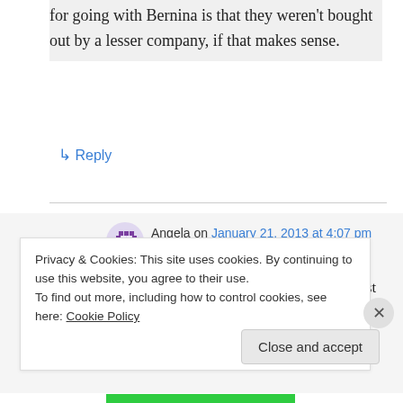for going with Bernina is that they weren't bought out by a lesser company, if that makes sense.
↳ Reply
Angela on January 21, 2013 at 4:07 pm
Nope, wasn't set on Pfaff at all, just wondering about why you changed. Thank you for the great answer!
Privacy & Cookies: This site uses cookies. By continuing to use this website, you agree to their use.
To find out more, including how to control cookies, see here: Cookie Policy
Close and accept